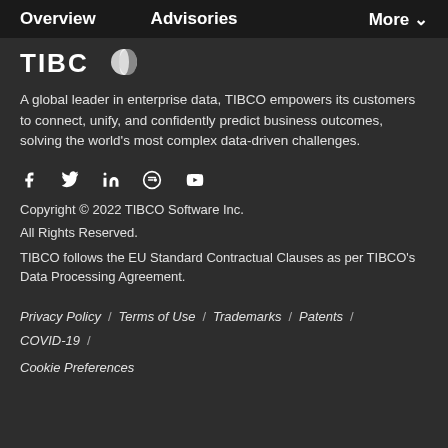Overview   Advisories   More ∨
[Figure (logo): TIBCO logo in white text with stylized circle graphic]
A global leader in enterprise data, TIBCO empowers its customers to connect, unify, and confidently predict business outcomes, solving the world's most complex data-driven challenges.
[Figure (illustration): Social media icons: Facebook, Twitter, LinkedIn, Mastodon/custom, YouTube]
Copyright © 2022 TIBCO Software Inc.
All Rights Reserved.
TIBCO follows the EU Standard Contractual Clauses as per TIBCO's Data Processing Agreement.
Privacy Policy / Terms of Use / Trademarks / Patents / COVID-19 /
Cookie Preferences